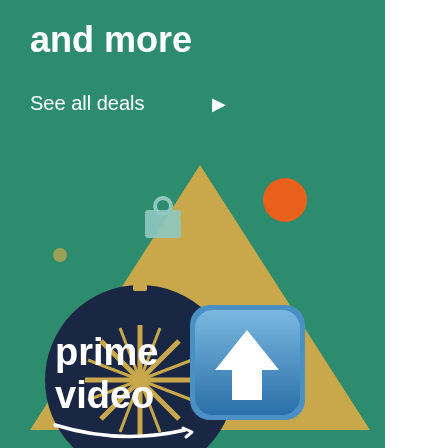[Figure (illustration): Amazon Prime Video holiday advertisement banner with green background. Top left shows text 'and more' in bold white. Below that 'See all deals' with arrow in white. Center shows holiday decorations: dark navy ornament with gold starburst, golden triangle/tree shape, small teal gift box icon, orange circle topper. A blue rounded square button with white upward arrow overlaid. Bottom shows 'prime video' text with Amazon smile logo in white.]